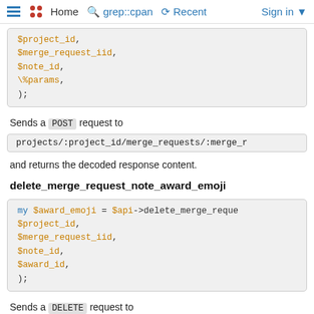Home  grep::cpan  Recent  Sign in
[Figure (screenshot): Code block showing $project_id, $merge_request_iid, $note_id, \%params, );]
Sends a POST request to
projects/:project_id/merge_requests/:merge_r
and returns the decoded response content.
delete_merge_request_note_award_emoji
[Figure (screenshot): Code block: my $award_emoji = $api->delete_merge_reques $project_id, $merge_request_iid, $note_id, $award_id, );]
Sends a DELETE request to
projects/:project_id/merge_requests/:merge_r